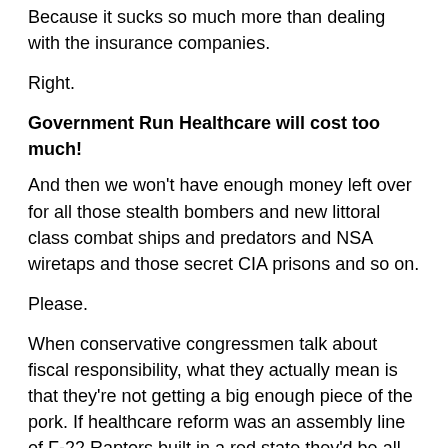Because it sucks so much more than dealing with the insurance companies.
Right.
Government Run Healthcare will cost too much!
And then we won't have enough money left over for all those stealth bombers and new littoral class combat ships and predators and NSA wiretaps and those secret CIA prisons and so on.
Please.
When conservative congressmen talk about fiscal responsibility, what they actually mean is that they're not getting a big enough piece of the pork. If healthcare reform was an assembly line of F-22 Raptors built in a red state they'd be all for it and damn the cost.
The healthcare insurance industry can reform without government interference.
Snort.